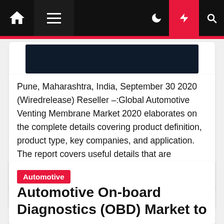Navigation bar with home, menu, moon, bolt, and search icons
[Figure (screenshot): Partial dark navy article image at top of first card]
Pune, Maharashtra, India, September 30 2020 (Wiredrelease) Reseller –:Global Automotive Venting Membrane Market 2020 elaborates on the complete details covering product definition, product type, key companies, and application. The report covers useful details that are categorized based on production region, major players, and product type which will provide a simplified view [...]
Automotive
Automotive On-board Diagnostics (OBD) Market to